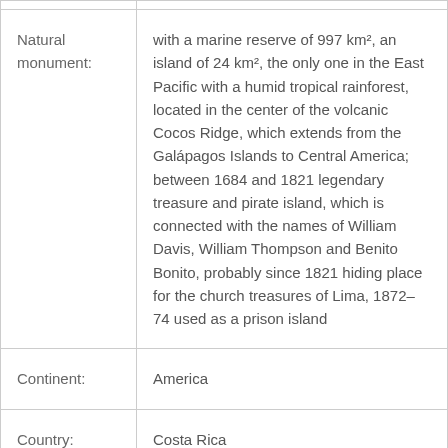| Field | Value |
| --- | --- |
| Natural monument: | with a marine reserve of 997 km², an island of 24 km², the only one in the East Pacific with a humid tropical rainforest, located in the center of the volcanic Cocos Ridge, which extends from the Galápagos Islands to Central America; between 1684 and 1821 legendary treasure and pirate island, which is connected with the names of William Davis, William Thompson and Benito Bonito, probably since 1821 hiding place for the church treasures of Lima, 1872–74 used as a prison island |
| Continent: | America |
| Country: | Costa Rica |
| Location: | 555 km west of Puntarenas |